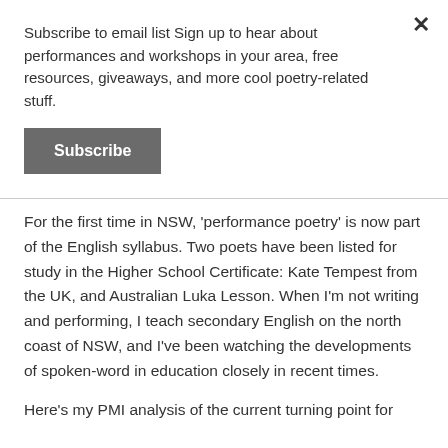Subscribe to email list Sign up to hear about performances and workshops in your area, free resources, giveaways, and more cool poetry-related stuff.
Subscribe
For the first time in NSW, 'performance poetry' is now part of the English syllabus. Two poets have been listed for study in the Higher School Certificate: Kate Tempest from the UK, and Australian Luka Lesson. When I'm not writing and performing, I teach secondary English on the north coast of NSW, and I've been watching the developments of spoken-word in education closely in recent times.
Here's my PMI analysis of the current turning point for